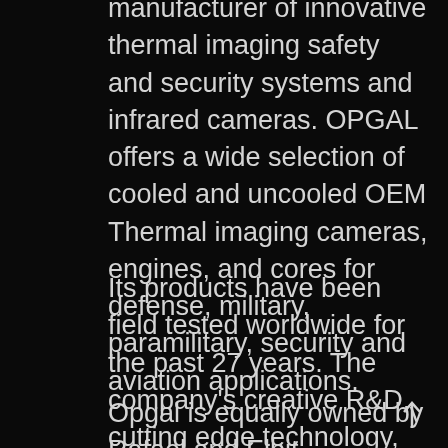manufacturer of innovative thermal imaging safety and security systems and infrared cameras. OPGAL offers a wide selection of cooled and uncooled OEM Thermal imaging cameras, engines, and cores for defense, military, paramilitary, security and aviation applications.
Its products have been field tested worldwide for the past 27 years. The company's creative R&D, cutting edge technology, speed and flexibility makes it an ideal partner for integrators looking for a partner.
Opgal is equally owned by Rafael and Elbit